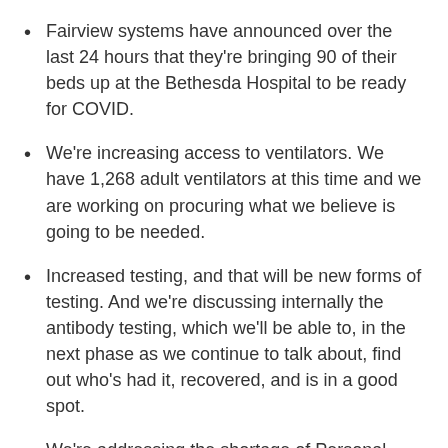Fairview systems have announced over the last 24 hours that they're bringing 90 of their beds up at the Bethesda Hospital to be ready for COVID.
We're increasing access to ventilators. We have 1,268 adult ventilators at this time and we are working on procuring what we believe is going to be needed.
Increased testing, and that will be new forms of testing. And we're discussing internally the antibody testing, which we'll be able to, in the next phase as we continue to talk about, find out who's had it, recovered, and is in a good spot.
We're addressing the shortage of Personal Protective Equipment, which is a top priority across the state. Unfortunately across the nation.